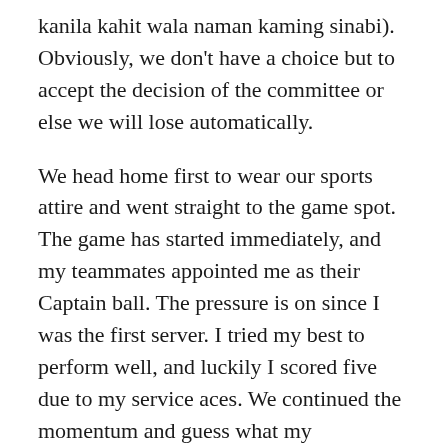kanila kahit wala naman kaming sinabi). Obviously, we don't have a choice but to accept the decision of the committee or else we will lose automatically.
We head home first to wear our sports attire and went straight to the game spot. The game has started immediately, and my teammates appointed me as their Captain ball. The pressure is on since I was the first server. I tried my best to perform well, and luckily I scored five due to my service aces. We continued the momentum and guess what my teammates were doing great as well. The cooperation, the skills, and teamwork was still there . We nailed the first set and obviously the other team was wearing a mopey face when they lose, however they were able to win in the second set.
And in the third or the last set of the game, the intense battle had began. We were all stressed out